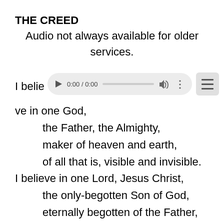THE CREED
Audio not always available for older services.
[Figure (screenshot): Audio player widget showing 0:00 / 0:00 with play button, progress bar, volume icon, and overflow menu dots. Alongside a hamburger menu button.]
I believe in one God,
    the Father, the Almighty,
    maker of heaven and earth,
    of all that is, visible and invisible.
I believe in one Lord, Jesus Christ,
    the only-begotten Son of God,
    eternally begotten of the Father,